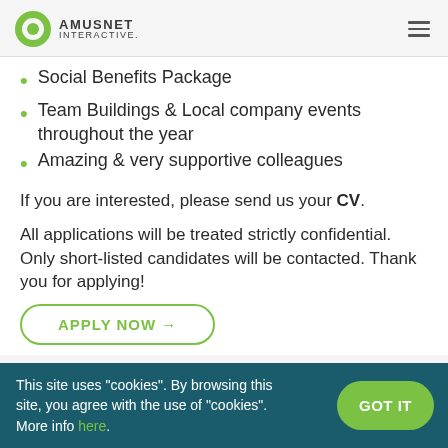Amusnet Interactive
Social Benefits Package
Team Buildings & Local company events throughout the year
Amazing & very supportive colleagues
If you are interested, please send us your CV.
All applications will be treated strictly confidential. Only short-listed candidates will be contacted. Thank you for applying!
APPLY NOW →
This site uses "cookies". By browsing this site, you agree with the use of "cookies". More info here.